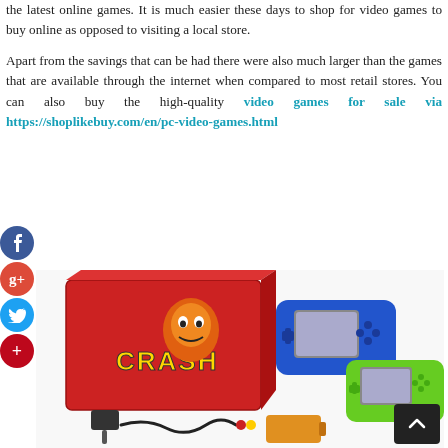the latest online games. It is much easier these days to shop for video games to buy online as opposed to visiting a local store.

Apart from the savings that can be had there were also much larger than the games that are available through the internet when compared to most retail stores. You can also buy the high-quality video games for sale via https://shoplikebuy.com/en/pc-video-games.html
[Figure (photo): Photo of a Crash Bandicoot branded handheld game console box (red) along with two handheld gaming devices (one blue, one green/lime), a power adapter, AV cables, and a battery pack arranged on a white background.]